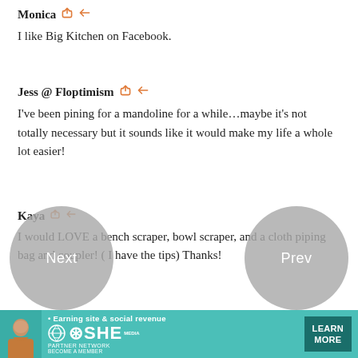Monica 🔗 ↩
I like Big Kitchen on Facebook.
Jess @ Floptimism 🔗 ↩
I've been pining for a mandoline for a while…maybe it's not totally necessary but it sounds like it would make my life a whole lot easier!
Kaya 🔗 ↩
I would LOVE a bench scraper, bowl scraper, and a cloth piping bag and coupler! ( I have the tips) Thanks!
[Figure (screenshot): Advertisement banner for SHE Media Partner Network with teal background, a person photo, bullet point text 'Earning site & social revenue', SHE logo, LEARN MORE button]